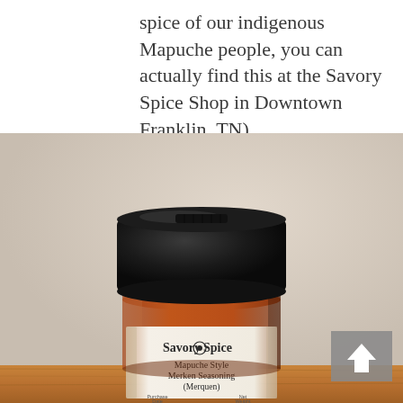spice of our indigenous Mapuche people, you can actually find this at the Savory Spice Shop in Downtown Franklin, TN).
[Figure (photo): A small spice jar with a black lid containing reddish-brown spice powder, labeled 'Savory Spice — Mapuche Style Merken Seasoning (Merquen)', placed on a wooden surface against a beige wall background. A grey back-to-top arrow button is visible in the bottom-right corner of the image.]